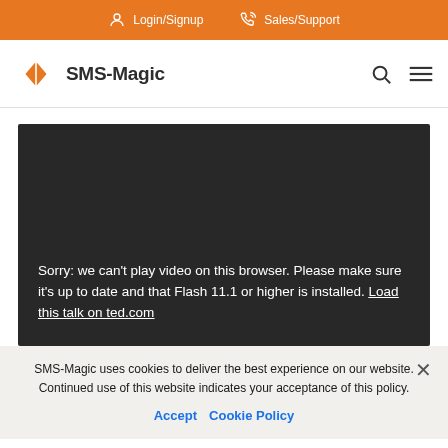Login/Signup  Sales/Support
[Figure (logo): SMS-Magic logo with orange diamond icon and navigation bar with search and menu icons]
[Figure (screenshot): Dark video player area showing error: Sorry: we can't play video on this browser. Please make sure it's up to date and that Flash 11.1 or higher is installed. Load this talk on ted.com]
SMS-Magic uses cookies to deliver the best experience on our website. Continued use of this website indicates your acceptance of this policy. Accept  Cookie Policy